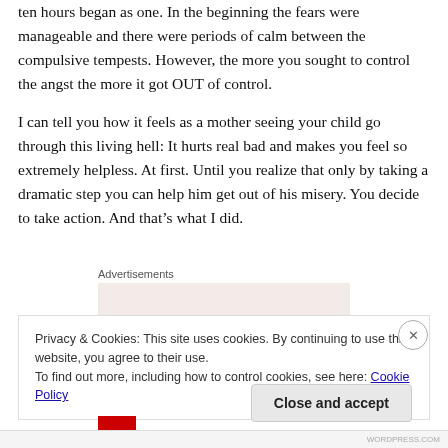ten hours began as one. In the beginning the fears were manageable and there were periods of calm between the compulsive tempests. However, the more you sought to control the angst the more it got OUT of control.
I can tell you how it feels as a mother seeing your child go through this living hell: It hurts real bad and makes you feel so extremely helpless. At first. Until you realize that only by taking a dramatic step you can help him get out of his misery. You decide to take action. And that's what I did.
Advertisements
Privacy & Cookies: This site uses cookies. By continuing to use this website, you agree to their use.
To find out more, including how to control cookies, see here: Cookie Policy
Close and accept